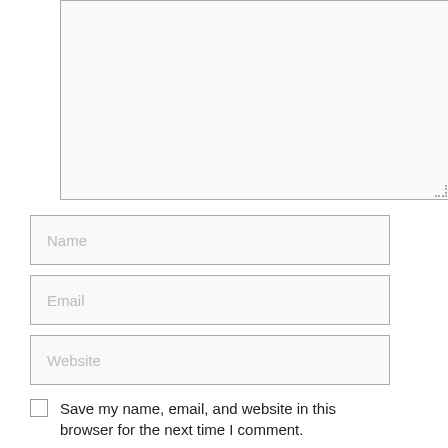[Figure (screenshot): A large textarea input box with a resize handle at bottom-right corner]
Name
Email
Website
Save my name, email, and website in this browser for the next time I comment.